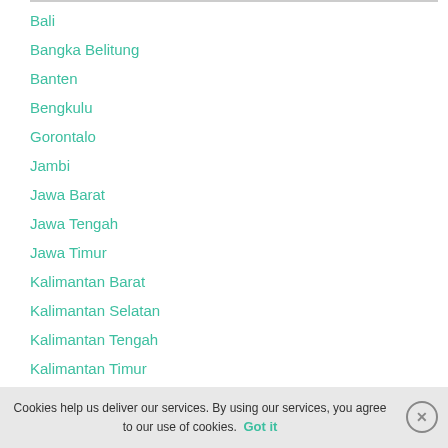Bali
Bangka Belitung
Banten
Bengkulu
Gorontalo
Jambi
Jawa Barat
Jawa Tengah
Jawa Timur
Kalimantan Barat
Kalimantan Selatan
Kalimantan Tengah
Kalimantan Timur
Kalimantan Utara
Kepulauan Riau
Lampung
Cookies help us deliver our services. By using our services, you agree to our use of cookies.
Got it